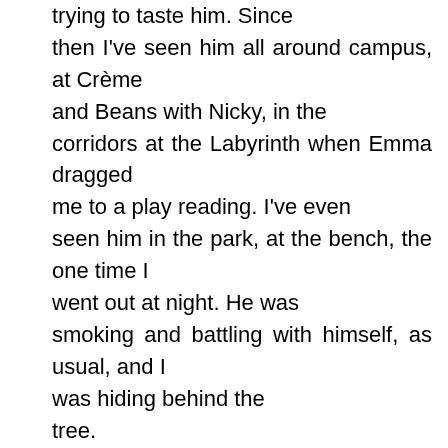trying to taste him. Since then I've seen him all around campus, at Crème and Beans with Nicky, in the corridors at the Labyrinth when Emma dragged me to a play reading. I've even seen him in the park, at the bench, the one time I went out at night. He was smoking and battling with himself, as usual, and I was hiding behind the tree. It's like he's everywhere. My secret keeper. The one person who knows what I did. And he is disgusted by me. He never looks at me. To him, I'm invisible. Somehow, this hurts even more because